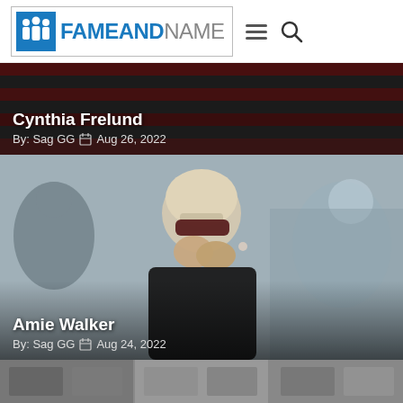FameAndName — navigation bar with logo, hamburger menu, and search icon
[Figure (photo): Article card with dark red/grey flag-themed background for Cynthia Frelund article]
Cynthia Frelund
By: Sag GG  Aug 26, 2022
[Figure (photo): Woman wearing dark sunglasses and black top covering her mouth with both hands emotionally, surrounded by blurred crowd in outdoor setting — article image for Amie Walker]
Amie Walker
By: Sag GG  Aug 24, 2022
[Figure (photo): Partial bottom strip showing additional article thumbnails in a row]